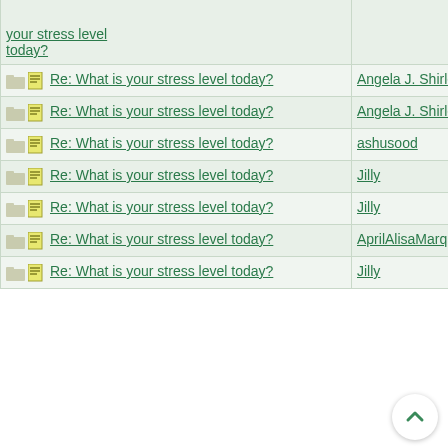| Subject | Author | Date |
| --- | --- | --- |
| [partial] your stress level today? |  |  |
| Re: What is your stress level today? | Angela J. Shirley | 01/11/12 09:17 PM |
| Re: What is your stress level today? | Angela J. Shirley | 01/11/12 09:18 PM |
| Re: What is your stress level today? | ashusood | 01/13/12 06:32 AM |
| Re: What is your stress level today? | Jilly | 01/13/12 07:12 AM |
| Re: What is your stress level today? | Jilly | 01/20/12 12:52 AM |
| Re: What is your stress level today? | AprilAlisaMarquette | 01/24/12 06:58 PM |
| Re: What is your stress level today? | Jilly | 01/26/12 08:38 AM |